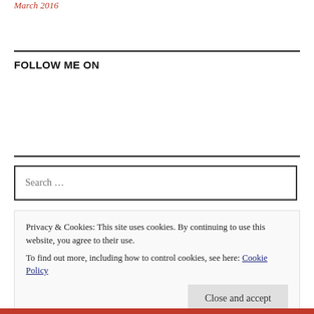March 2016
FOLLOW ME ON
Search...
Privacy & Cookies: This site uses cookies. By continuing to use this website, you agree to their use.
To find out more, including how to control cookies, see here: Cookie Policy
Close and accept